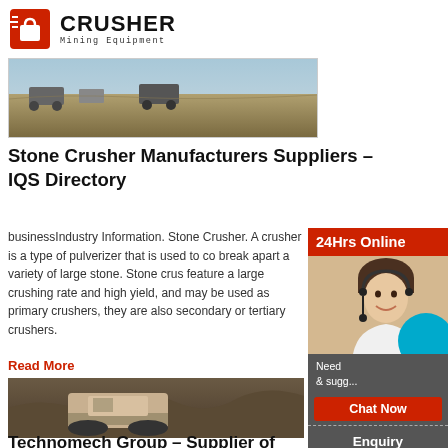[Figure (logo): Crusher Mining Equipment logo with red shopping bag icon and bold CRUSHER text]
[Figure (photo): Partial view of an outdoor quarry or mining site with machinery and earth]
Stone Crusher Manufacturers Suppliers – IQS Directory
businessIndustry Information. Stone Crusher. A crusher is a type of pulverizer that is used to co break apart a variety of large stone. Stone crus feature a large crushing rate and high yield, and may be used as primary crushers, they are also secondary or tertiary crushers.
Read More
[Figure (photo): A large mobile stone crusher machine in a rocky quarry setting]
Technomech Group – Supplier of
[Figure (infographic): Right sidebar with 24Hrs Online banner, customer service agent photo, Need & suggestions text, Chat Now button, Enquiry button, and limingjlmofen@sina.com email]